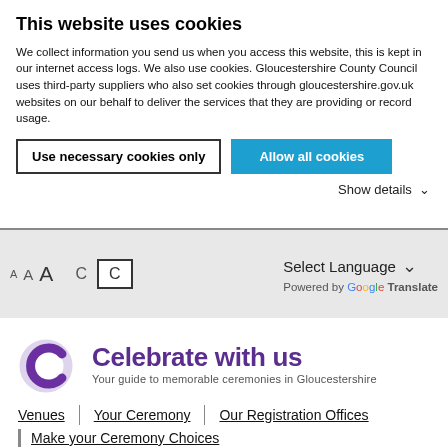This website uses cookies
We collect information you send us when you access this website, this is kept in our internet access logs. We also use cookies. Gloucestershire County Council uses third-party suppliers who also set cookies through gloucestershire.gov.uk websites on our behalf to deliver the services that they are providing or record usage.
Use necessary cookies only | Allow all cookies | Show details
[Figure (other): Toolbar with font size controls (A A A), contrast controls (C, C boxed), language selector (Select Language with dropdown arrow), and Powered by Google Translate label]
[Figure (logo): Celebrate with us logo — stylized C in purple/lavender circles, with text 'Celebrate with us' in bold purple and subtitle 'Your guide to memorable ceremonies in Gloucestershire']
Venues
Your Ceremony
Our Registration Offices
Make your Ceremony Choices